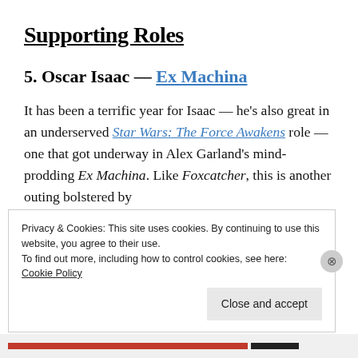Supporting Roles
5. Oscar Isaac — Ex Machina
It has been a terrific year for Isaac — he's also great in an underserved Star Wars: The Force Awakens role — one that got underway in Alex Garland's mind-prodding Ex Machina. Like Foxcatcher, this is another outing bolstered by
Privacy & Cookies: This site uses cookies. By continuing to use this website, you agree to their use.
To find out more, including how to control cookies, see here:
Cookie Policy